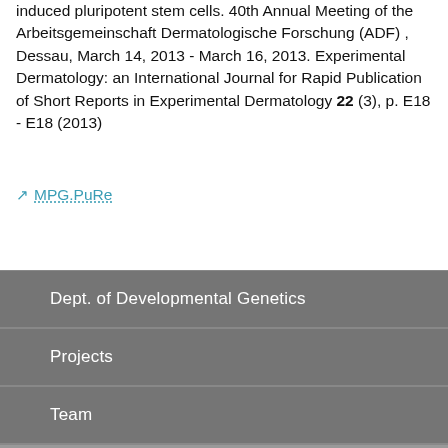induced pluripotent stem cells. 40th Annual Meeting of the Arbeitsgemeinschaft Dermatologische Forschung (ADF) , Dessau, March 14, 2013 - March 16, 2013. Experimental Dermatology: an International Journal for Rapid Publication of Short Reports in Experimental Dermatology 22 (3), p. E18 - E18 (2013)
↗ MPG.PuRe
Dept. of Developmental Genetics
Projects
Team
PuRe Publications